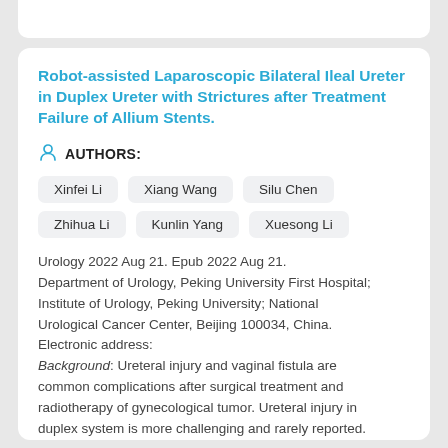Robot-assisted Laparoscopic Bilateral Ileal Ureter in Duplex Ureter with Strictures after Treatment Failure of Allium Stents.
AUTHORS:
Xinfei Li
Xiang Wang
Silu Chen
Zhihua Li
Kunlin Yang
Xuesong Li
Urology 2022 Aug 21. Epub 2022 Aug 21. Department of Urology, Peking University First Hospital; Institute of Urology, Peking University; National Urological Cancer Center, Beijing 100034, China. Electronic address: Background: Ureteral injury and vaginal fistula are common complications after surgical treatment and radiotherapy of gynecological tumor. Ureteral injury in duplex system is more challenging and rarely reported.